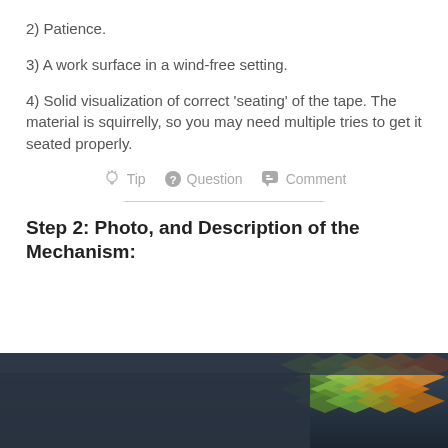2) Patience.
3) A work surface in a wind-free setting.
4) Solid visualization of correct 'seating' of the tape. The material is squirrelly, so you may need multiple tries to get it seated properly.
Tip  Question  Comment
Step 2: Photo, and Description of the Mechanism:
[Figure (photo): Photo showing a dark surface with colorful textured material (green, yellow, orange diamond pattern) visible in the upper right corner.]